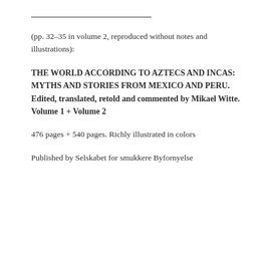(pp. 32–35 in volume 2, reproduced without notes and illustrations):
THE WORLD ACCORDING TO AZTECS AND INCAS: MYTHS AND STORIES FROM MEXICO AND PERU. Edited, translated, retold and commented by Mikael Witte. Volume 1 + Volume 2
476 pages + 540 pages. Richly illustrated in colors
Published by Selskabet for smukkere Byfornyelse